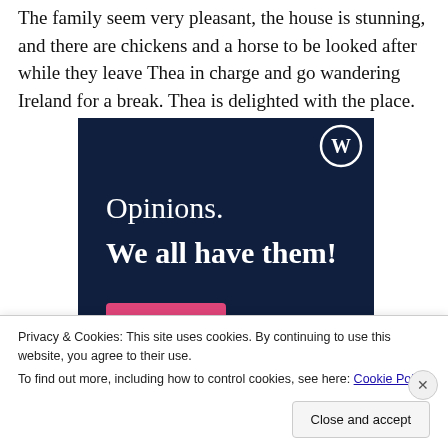The family seem very pleasant, the house is stunning, and there are chickens and a horse to be looked after while they leave Thea in charge and go wandering Ireland for a break. Thea is delighted with the place.
[Figure (screenshot): WordPress.com advertisement with dark navy background. Shows WordPress 'W' logo icon in top right, text 'Opinions. We all have them!' in white serif font, with a pink button partially visible at the bottom.]
Privacy & Cookies: This site uses cookies. By continuing to use this website, you agree to their use.
To find out more, including how to control cookies, see here: Cookie Policy